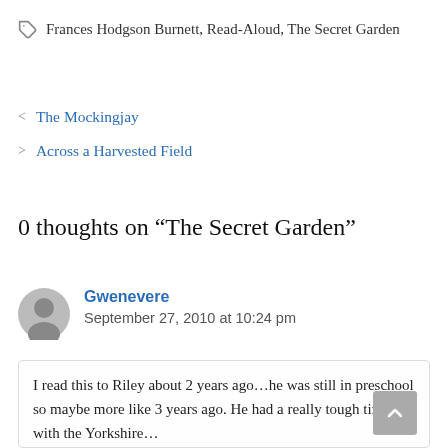Frances Hodgson Burnett, Read-Aloud, The Secret Garden
< The Mockingjay
> Across a Harvested Field
0 thoughts on “The Secret Garden”
Gwenevere
September 27, 2010 at 10:24 pm
I read this to Riley about 2 years ago…he was still in preschool so maybe more like 3 years ago. He had a really tough time with the Yorkshire…